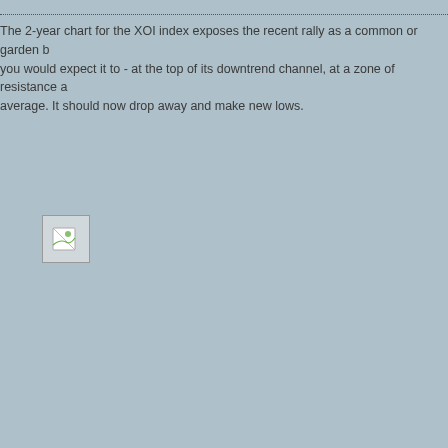The 2-year chart for the XOI index exposes the recent rally as a common or garden b... you would expect it to - at the top of its downtrend channel, at a zone of resistance a... average. It should now drop away and make new lows.
[Figure (other): Broken image placeholder representing a 2-year chart for the XOI index]